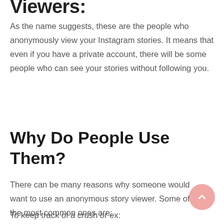Viewers:
As the name suggests, these are the people who anonymously view your Instagram stories. It means that even if you have a private account, there will be some people who can see your stories without following you.
Why Do People Use Them?
There can be many reasons why someone would want to use an anonymous story viewer. Some of the most common ones are:
To keep track of a crush or ex: